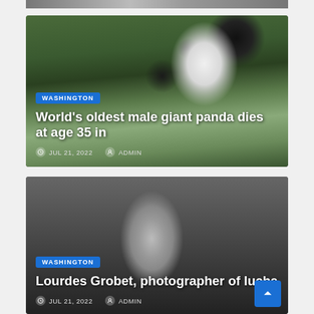[Figure (photo): Partial top strip of an image, cropped at top of page]
[Figure (photo): Giant panda bear sitting outdoors among greenery, eating]
WASHINGTON
World's oldest male giant panda dies at age 35 in
JUL 21, 2022   ADMIN
[Figure (photo): Black and white photo of Lourdes Grobet, a photographer wearing a lucha libre wrestling mask, holding a camera]
WASHINGTON
Lourdes Grobet, photographer of lucha
JUL 21, 2022   ADMIN